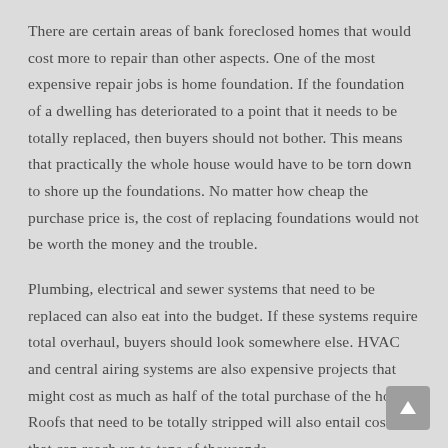There are certain areas of bank foreclosed homes that would cost more to repair than other aspects. One of the most expensive repair jobs is home foundation. If the foundation of a dwelling has deteriorated to a point that it needs to be totally replaced, then buyers should not bother. This means that practically the whole house would have to be torn down to shore up the foundations. No matter how cheap the purchase price is, the cost of replacing foundations would not be worth the money and the trouble.
Plumbing, electrical and sewer systems that need to be replaced can also eat into the budget. If these systems require total overhaul, buyers should look somewhere else. HVAC and central airing systems are also expensive projects that might cost as much as half of the total purchase of the house. Roofs that need to be totally stripped will also entail costs that can reach up to tens of thousands.
When viewing bank foreclosed homes, a buyer should have a professional house inspector at hand. They might think that they are getting a bargain, but there are things, particularly